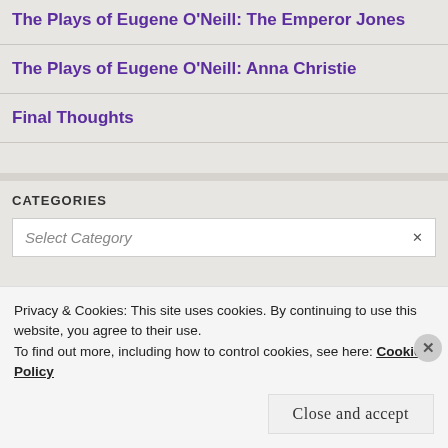The Plays of Eugene O'Neill: The Emperor Jones
The Plays of Eugene O'Neill: Anna Christie
Final Thoughts
CATEGORIES
Select Category
Privacy & Cookies: This site uses cookies. By continuing to use this website, you agree to their use.
To find out more, including how to control cookies, see here: Cookie Policy
Close and accept